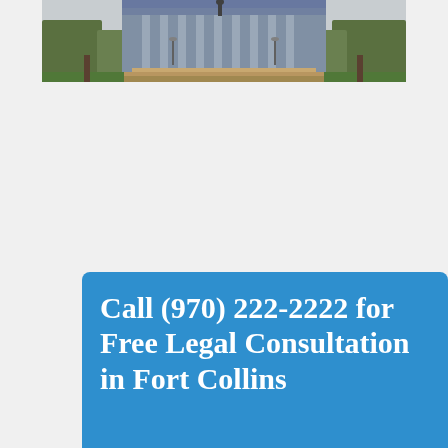[Figure (photo): Photo of a government building (likely Colorado State Capitol) with stone facade, columns, steps, and surrounding trees and grass]
Call (970) 222-2222 for Free Legal Consultation in Fort Collins
CALL NOW ≫